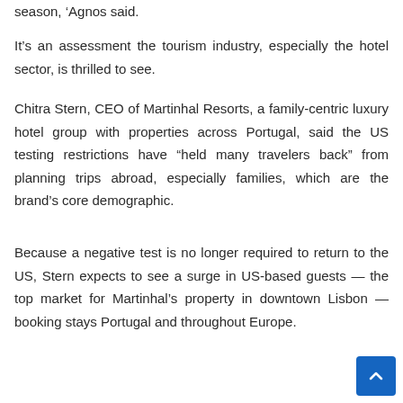season,’ Agnos said.
It’s an assessment the tourism industry, especially the hotel sector, is thrilled to see.
Chitra Stern, CEO of Martinhal Resorts, a family-centric luxury hotel group with properties across Portugal, said the US testing restrictions have “held many travelers back” from planning trips abroad, especially families, which are the brand’s core demographic.
Because a negative test is no longer required to return to the US, Stern expects to see a surge in US-based guests — the top market for Martinhal’s property in downtown Lisbon — booking stays Portugal and throughout Europe.